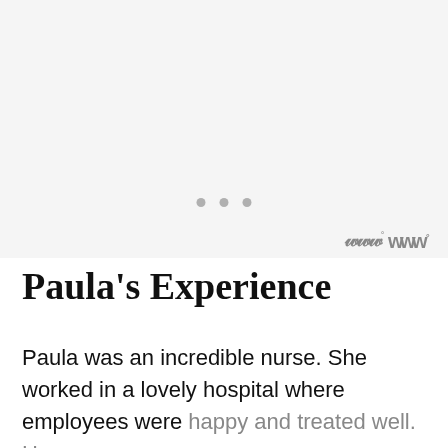[Figure (other): Light gray placeholder area with three dots (loading indicator) and a small logo mark in the bottom-right corner]
Paula’s Experience
Paula was an incredible nurse. She worked in a lovely hospital where employees were happy and treated well. However, no hospitals or clinics are immune to violence